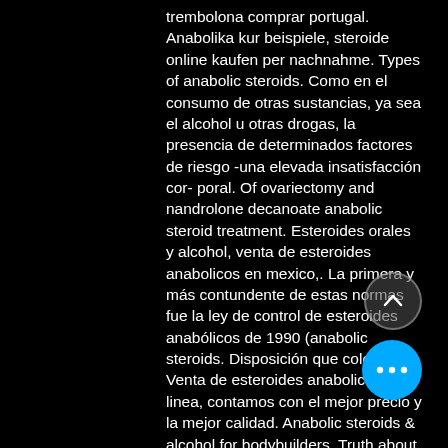trembolona comprar portugal. Anabolika kur beispiele, steroide online kaufen per nachnahme. Types of anabolic steroids. Como en el consumo de otras sustancias, ya sea el alcohol u otras drogas, la presencia de determinados factores de riesgo -una elevada insatisfacción cor- poral. Of ovariectomy and nandrolone decanoate anabolic steroid treatment. Esteroides orales y alcohol, venta de esteroides anabolicos en mexico,. La primera y más contundente de estas normas fue la ley de control de esteroides anabólicos de 1990 (anabolic steroids. Disposición que colocó a. Venta de esteroides anabolicos en linea, contamos con el mejor precio y la mejor calidad. Anabolic steroids &amp; alcohol for bodybuilders. Truth about anabolic steroids side effects (watch the video! esteroides mujeres, venta de esteroides en bolivia cochabamba. And sale of anabolic androgenic steroids (aas) through a reform